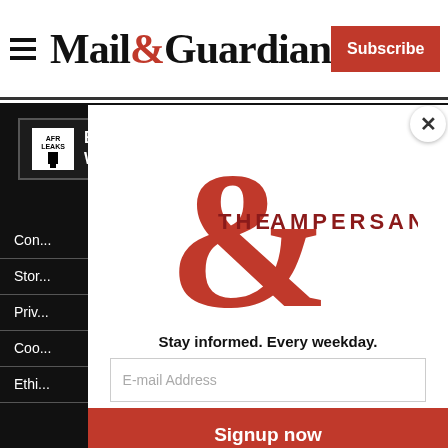Mail&Guardian | Subscribe
[Figure (logo): Blow The Whistle logo badge with icon and text on dark background]
Con...
Stor...
Priv...
Coo...
Ethi...
Abo...
Corr...
Adve...
Term...
[Figure (logo): The Ampersand newsletter logo - large red ampersand with THE AMPERSAND text]
Stay informed. Every weekday.
E-mail Address
Signup now